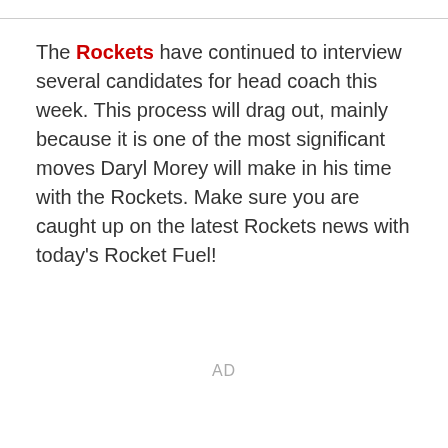The Rockets have continued to interview several candidates for head coach this week. This process will drag out, mainly because it is one of the most significant moves Daryl Morey will make in his time with the Rockets. Make sure you are caught up on the latest Rockets news with today's Rocket Fuel!
AD